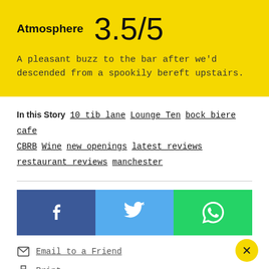Atmosphere 3.5/5
A pleasant buzz to the bar after we'd descended from a spookily bereft upstairs.
In this Story 10 tib lane Lounge Ten bock biere cafe CBRB Wine new openings latest reviews restaurant reviews manchester
[Figure (infographic): Social share buttons: Facebook (dark blue), Twitter (light blue), WhatsApp (green)]
Email to a Friend
Print